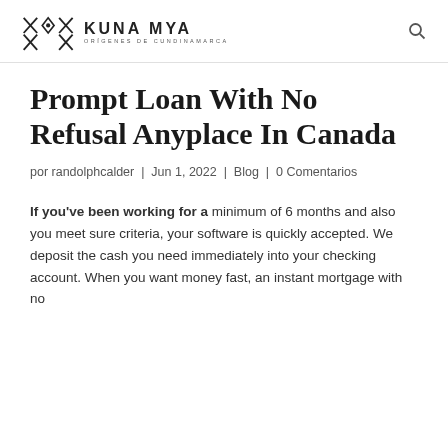KUNA MYA — ORÍGENES DE CUNDINAMARCA
Prompt Loan With No Refusal Anyplace In Canada
por randolphcalder | Jun 1, 2022 | Blog | 0 Comentarios
If you've been working for a minimum of 6 months and also you meet sure criteria, your software is quickly accepted. We deposit the cash you need immediately into your checking account. When you want money fast, an instant mortgage with no